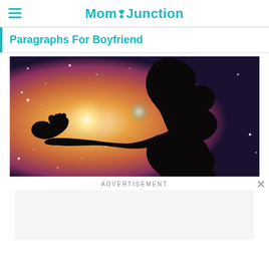MomJunction
Paragraphs For Boyfriend
[Figure (photo): Silhouette of a woman holding out her hand with a glowing light, set against a colorful cosmic starry background with orange, purple and pink hues.]
ADVERTISEMENT